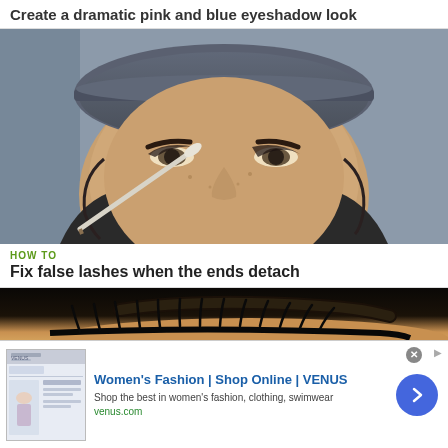Create a dramatic pink and blue eyeshadow look
[Figure (photo): Close-up photo of a person wearing a flat cap hat, holding a makeup brush near their face, with eye makeup visible]
HOW TO
Fix false lashes when the ends detach
[Figure (photo): Close-up photo of an eye with dramatic false lashes and dark eyebrow against a dark background]
[Figure (photo): Advertisement: Women's Fashion | Shop Online | VENUS - Shop the best in women's fashion, clothing, swimwear - venus.com]